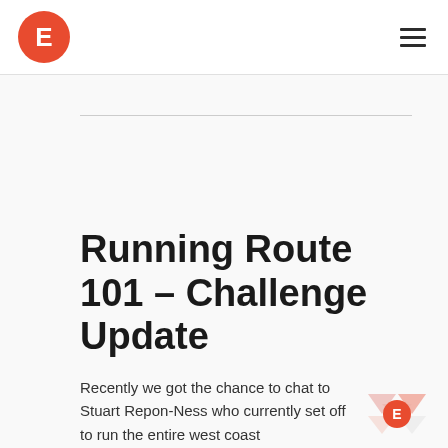E [logo] | hamburger menu
Running Route 101 – Challenge Update
Recently we got the chance to chat to Stuart Repon-Ness who currently set off to run the entire west coast of America at the start of August...